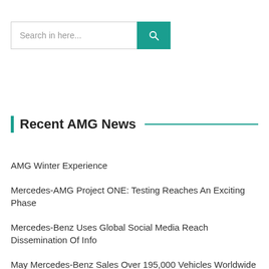[Figure (screenshot): Search bar with text input field labeled 'Search in here...' and a teal search button with magnifying glass icon]
Recent AMG News
AMG Winter Experience
Mercedes-AMG Project ONE: Testing Reaches An Exciting Phase
Mercedes-Benz Uses Global Social Media Reach Dissemination Of Info
May Mercedes-Benz Sales Over 195,000 Vehicles Worldwide